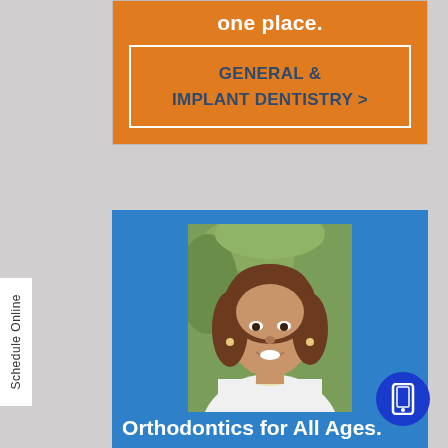one place.
GENERAL & IMPLANT DENTISTRY >
[Figure (photo): Professional headshot of a smiling woman with brown shoulder-length hair wearing a white coat and pearl necklace, outdoors with green blurred background]
Orthodontics for All Ages.
Schedule Online